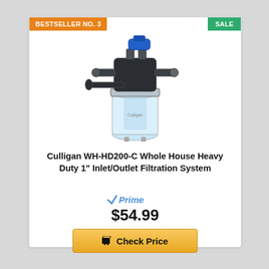BESTSELLER NO. 3
SALE
[Figure (photo): Culligan WH-HD200-C Whole House Heavy Duty water filtration system with clear bowl, metal head, blue handle, and side connections]
Culligan WH-HD200-C Whole House Heavy Duty 1" Inlet/Outlet Filtration System
Prime (Amazon Prime logo)
$54.99
Check Price